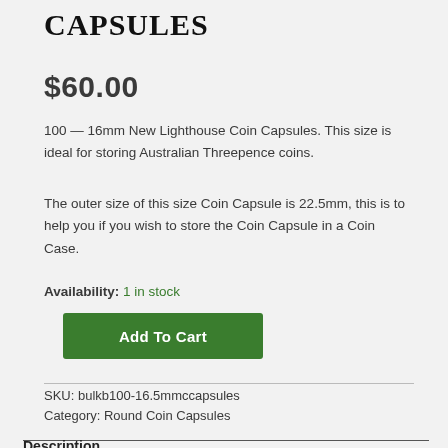CAPSULES
$60.00
100 — 16mm New Lighthouse Coin Capsules. This size is ideal for storing Australian Threepence coins.
The outer size of this size Coin Capsule is 22.5mm, this is to help you if you wish to store the Coin Capsule in a Coin Case.
Availability: 1 in stock
Add To Cart
SKU: bulkb100-16.5mmccapsules
Category: Round Coin Capsules
Description